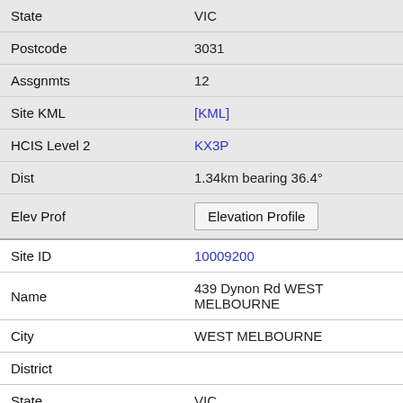| Field | Value |
| --- | --- |
| State | VIC |
| Postcode | 3031 |
| Assgnmts | 12 |
| Site KML | [KML] |
| HCIS Level 2 | KX3P |
| Dist | 1.34km bearing 36.4° |
| Elev Prof | Elevation Profile |
| Site ID | 10009200 |
| Name | 439 Dynon Rd WEST MELBOURNE |
| City | WEST MELBOURNE |
| District |  |
| State | VIC |
| Postcode |  |
| Assgnmts | 2 |
| Site KML | [KML] |
| HCIS Level 2 | KX3P |
| Dist | 1.35km bearing 252.7° |